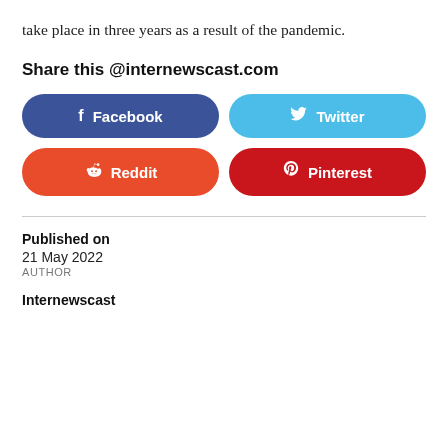take place in three years as a result of the pandemic.
Share this @internewscast.com
[Figure (other): Social share buttons for Facebook, Twitter, Reddit, and Pinterest]
Published on
21 May 2022
AUTHOR
Internewscast